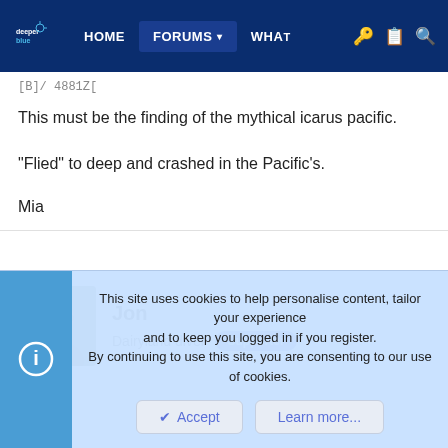[Figure (screenshot): DeeperBlue website navigation bar with logo, HOME, FORUMS (active), WHAT, and icons]
[B]/4881Z[
This must be the finding of the mythical icarus pacific.
“Flied” to deep and crashed in the Pacific’s.
Mia
Jon
Dairyland diver  Supporter
This site uses cookies to help personalise content, tailor your experience and to keep you logged in if you register.
By continuing to use this site, you are consenting to our use of cookies.